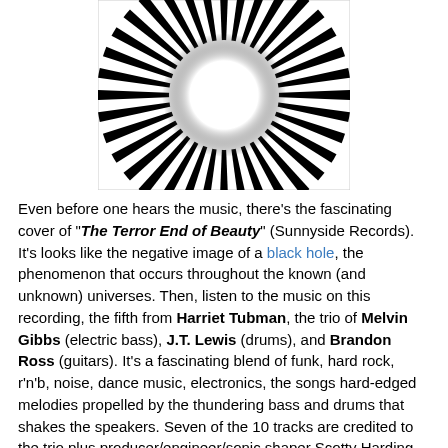[Figure (illustration): Black and white album cover artwork showing radiating stripes forming an optical illusion resembling a vortex or tunnel with a bright white circular center, like a negative image of a black hole. White border/frame around the image.]
Even before one hears the music, there's the fascinating cover of "The Terror End of Beauty" (Sunnyside Records). It's looks like the negative image of a black hole, the phenomenon that occurs throughout the known (and unknown) universes. Then, listen to the music on this recording, the fifth from Harriet Tubman, the trio of Melvin Gibbs (electric bass), J.T. Lewis (drums), and Brandon Ross (guitars). It's a fascinating blend of funk, hard rock, r'n'b, noise, dance music, electronics, the songs hard-edged melodies propelled by the thundering bass and drums that shakes the speakers. Seven of the 10 tracks are credited to the trio plus producer/engineer/sonic shaper Scotty Harding, who takes the often-raucous material and helps to clarify and even muddy the sonic waters.